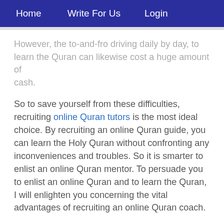Home   Write For Us   Login
However, the to-and-fro driving daily by day, to learn the Quran can likewise cost a huge amount of cash.
So to save yourself from these difficulties, recruiting online Quran tutors is the most ideal choice. By recruiting an online Quran guide, you can learn the Holy Quran without confronting any inconveniences and troubles. So it is smarter to enlist an online Quran mentor. To persuade you to enlist an online Quran and to learn the Quran, I will enlighten you concerning the vital advantages of recruiting an online Quran coach.
A portion of these advantages are:
You can stand out enough to be noticed